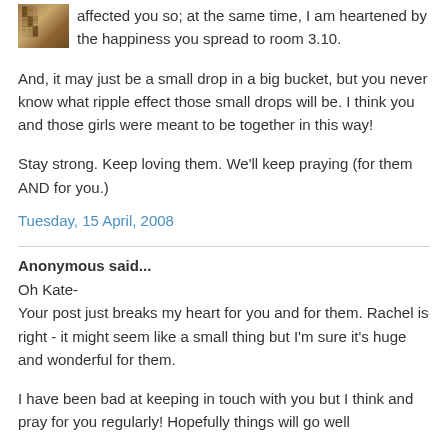[Figure (photo): Small avatar/thumbnail image in top-left corner, brownish tones]
affected you so; at the same time, I am heartened by the happiness you spread to room 3.10.
And, it may just be a small drop in a big bucket, but you never know what ripple effect those small drops will be. I think you and those girls were meant to be together in this way!
Stay strong. Keep loving them. We'll keep praying (for them AND for you.)
Tuesday, 15 April, 2008
Anonymous said...
Oh Kate-
Your post just breaks my heart for you and for them. Rachel is right - it might seem like a small thing but I'm sure it's huge and wonderful for them.
I have been bad at keeping in touch with you but I think and pray for you regularly! Hopefully things will go well